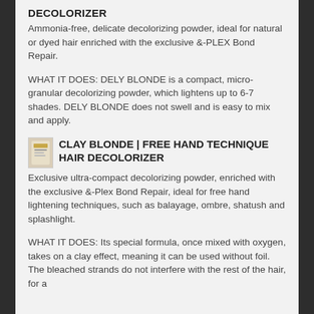DECOLORIZER
Ammonia-free, delicate decolorizing powder, ideal for natural or dyed hair enriched with the exclusive &-PLEX Bond Repair.
WHAT IT DOES: DELY BLONDE is a compact, micro-granular decolorizing powder, which lightens up to 6-7 shades. DELY BLONDE does not swell and is easy to mix and apply.
CLAY BLONDE | FREE HAND TECHNIQUE HAIR DECOLORIZER
Exclusive ultra-compact decolorizing powder, enriched with the exclusive &-Plex Bond Repair, ideal for free hand lightening techniques, such as balayage, ombre, shatush and splashlight.
WHAT IT DOES: Its special formula, once mixed with oxygen, takes on a clay effect, meaning it can be used without foil. The bleached strands do not interfere with the rest of the hair, for a